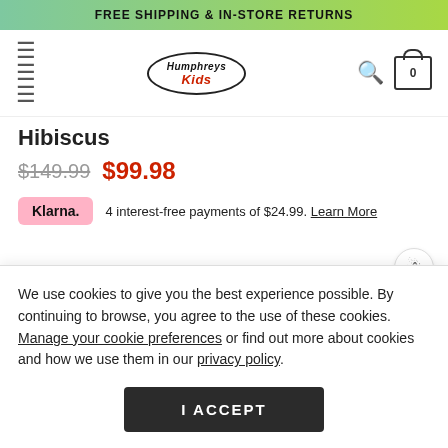FREE SHIPPING & IN-STORE RETURNS
[Figure (logo): Humphreys Kidz logo in oval border with stylized text]
Hibiscus
$149.99 $99.98
Klarna. 4 interest-free payments of $24.99. Learn More
We use cookies to give you the best experience possible. By continuing to browse, you agree to the use of these cookies. Manage your cookie preferences or find out more about cookies and how we use them in our privacy policy.
I ACCEPT